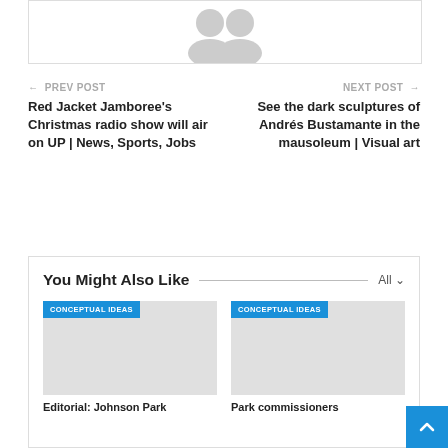[Figure (illustration): Partial view of an avatar/person silhouette placeholder image at the top of the page]
← PREV POST
NEXT POST →
Red Jacket Jamboree's Christmas radio show will air on UP | News, Sports, Jobs
See the dark sculptures of Andrés Bustamante in the mausoleum | Visual art
You Might Also Like
All ∨
[Figure (photo): Gray placeholder image card with blue CONCEPTUAL IDEAS badge label]
[Figure (photo): Gray placeholder image card with blue CONCEPTUAL IDEAS badge label]
Editorial: Johnson Park
Park commissioners